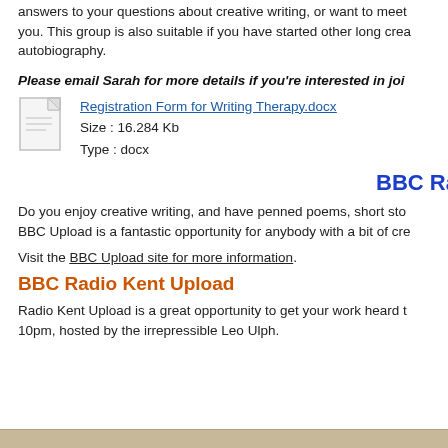answers to your questions about creative writing, or want to meet you. This group is also suitable if you have started other long crea autobiography.
Please email Sarah for more details if you're interested in joi
[Figure (other): Document file icon for Registration Form for Writing Therapy.docx]
Registration Form for Writing Therapy.docx
Size : 16.284 Kb
Type : docx
BBC Ra
Do you enjoy creative writing, and have penned poems, short sto BBC Upload is a fantastic opportunity for anybody with a bit of cre
Visit the BBC Upload site for more information.
BBC Radio Kent Upload
Radio Kent Upload is a great opportunity to get your work heard t 10pm, hosted by the irrepressible Leo Ulph.